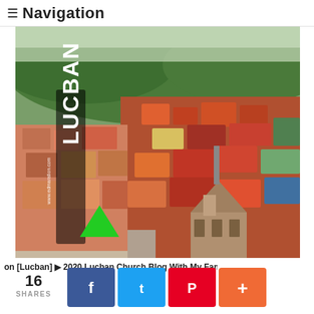≡ Navigation
[Figure (photo): Aerial drone photo of Lucban town with colorful rooftops, a large church in the foreground, and green forested hills in the background. A 'LUCBAN' text overlay and www.edmaration.com watermark appear on the left side, along with a green arrow/triangle icon.]
on [Lucban] ▶ 2020 Lucban Church Blog With My Fam…
16 SHARES
[Figure (other): Social share buttons: Facebook (blue), Twitter (blue), Pinterest (red), plus/add (orange)]